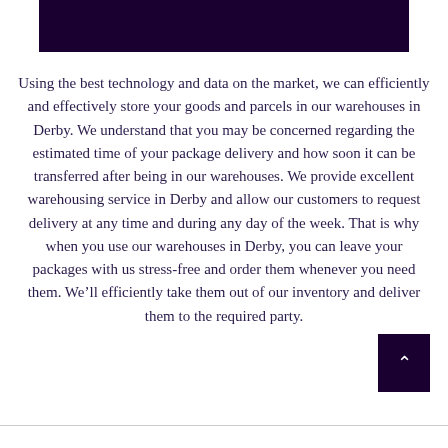Using the best technology and data on the market, we can efficiently and effectively store your goods and parcels in our warehouses in Derby. We understand that you may be concerned regarding the estimated time of your package delivery and how soon it can be transferred after being in our warehouses. We provide excellent warehousing service in Derby and allow our customers to request delivery at any time and during any day of the week. That is why when you use our warehouses in Derby, you can leave your packages with us stress-free and order them whenever you need them. We’ll efficiently take them out of our inventory and deliver them to the required party.